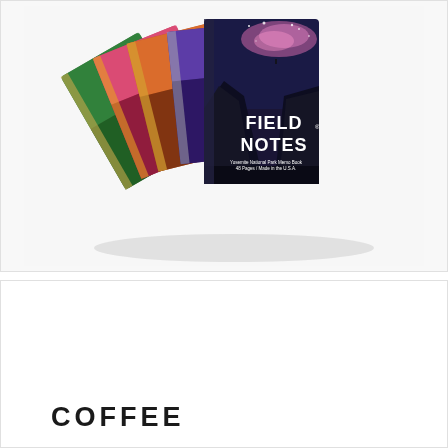[Figure (photo): A stack of Field Notes brand memo books/notebooks fanned out, featuring colorful National Park themed covers. The frontmost notebook shows 'FIELD NOTES' in large white text with a Yosemite National Park cover showing dark canyon cliffs and a pink/purple starry night sky. Subtitle reads 'Yosemite National Park Memo Book / 48 Pages / Made in the U.S.A.' Multiple notebooks with different colorful park covers are stacked behind it.]
COFFEE